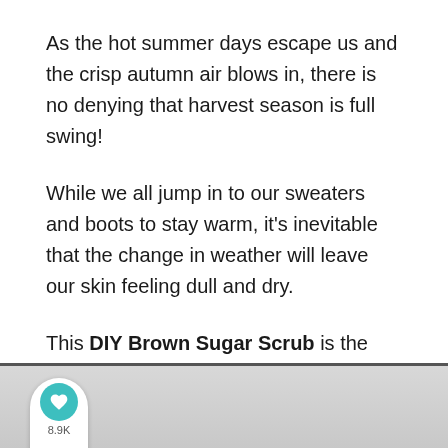As the hot summer days escape us and the crisp autumn air blows in, there is no denying that harvest season is full swing!
While we all jump in to our sweaters and boots to stay warm, it's inevitable that the change in weather will leave our skin feeling dull and dry.
This DIY Brown Sugar Scrub is the perfect way to use some favorite fall ingredients to slough off the [scales] and put the glow and shine back into your [skin]!
[Figure (photo): Bottom portion of a photo showing a light gray background, partially visible at the bottom of the page.]